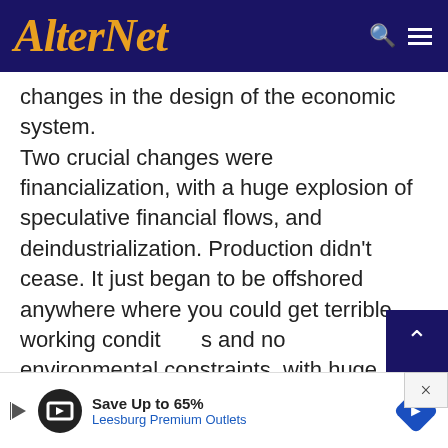AlterNet
changes in the design of the economic system. Two crucial changes were financialization, with a huge explosion of speculative financial flows, and deindustrialization. Production didn't cease. It just began to be offshored anywhere where you could get terrible working conditions and no environmental constraints, with huge profits for the Masters. Within the US, that set off a vicious cycle, leading to sharp
[Figure (screenshot): Advertisement banner: Save Up to 65% Leesburg Premium Outlets]
Save Up to 65% Leesburg Premium Outlets